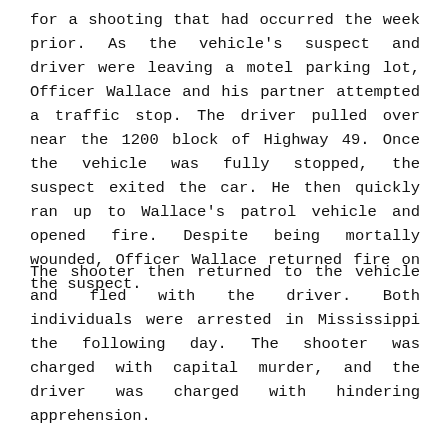for a shooting that had occurred the week prior. As the vehicle's suspect and driver were leaving a motel parking lot, Officer Wallace and his partner attempted a traffic stop. The driver pulled over near the 1200 block of Highway 49. Once the vehicle was fully stopped, the suspect exited the car. He then quickly ran up to Wallace's patrol vehicle and opened fire. Despite being mortally wounded, Officer Wallace returned fire on the suspect.
The shooter then returned to the vehicle and fled with the driver. Both individuals were arrested in Mississippi the following day. The shooter was charged with capital murder, and the driver was charged with hindering apprehension.